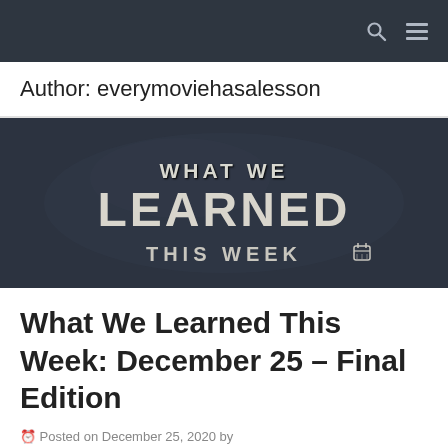Author: everymoviehasalesson
[Figure (illustration): Dark chalkboard background image with white chalky text reading 'WHAT WE LEARNED THIS WEEK' with a calendar icon]
What We Learned This Week: December 25 – Final Edition
Posted on December 25, 2020 by